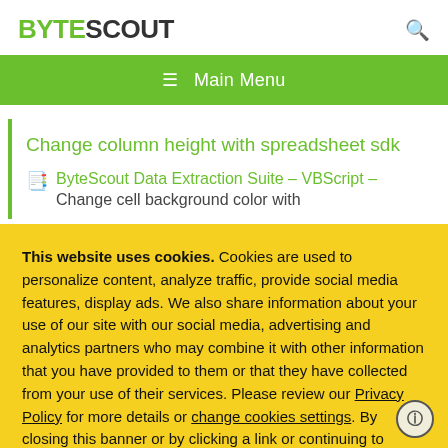BYTESCOUT
☰  Main Menu
Change column height with spreadsheet sdk
ByteScout Data Extraction Suite – VBScript – Change cell background color with
This website uses cookies. Cookies are used to personalize content, analyze traffic, provide social media features, display ads. We also share information about your use of our site with our social media, advertising and analytics partners who may combine it with other information that you have provided to them or that they have collected from your use of their services. Please review our Privacy Policy for more details or change cookies settings. By closing this banner or by clicking a link or continuing to browse otherwise, you consent to our cookies.
OK